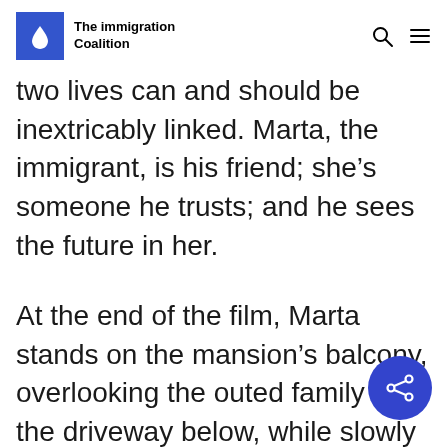The Immigration Coalition
two lives can and should be inextricably linked. Marta, the immigrant, is his friend; she's someone he trusts; and he sees the future in her.
At the end of the film, Marta stands on the mansion's balcony, overlooking the outed family in the driveway below, while slowly raising a coffee mug to her lips. It's the same mug that Harlan is supposed to drink from in the opening scene, and the phrase